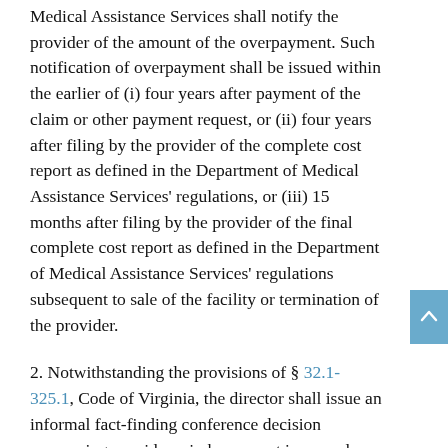Medical Assistance Services shall notify the provider of the amount of the overpayment. Such notification of overpayment shall be issued within the earlier of (i) four years after payment of the claim or other payment request, or (ii) four years after filing by the provider of the complete cost report as defined in the Department of Medical Assistance Services' regulations, or (iii) 15 months after filing by the provider of the final complete cost report as defined in the Department of Medical Assistance Services' regulations subsequent to sale of the facility or termination of the provider.
2. Notwithstanding the provisions of § 32.1-325.1, Code of Virginia, the director shall issue an informal fact-finding conference decision concerning provider reimbursement in accordance with the State Plan for Medical Assistance, the provisions of § 2.2-4019, Code of Virginia, and applicable federal law. The informal